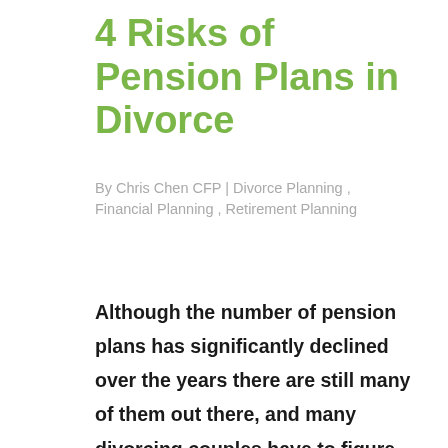4 Risks of Pension Plans in Divorce
By Chris Chen CFP | Divorce Planning , Financial Planning , Retirement Planning
Although the number of pension plans has significantly declined over the years there are still many of them out there, and many divorcing couples have to figure out how to deal